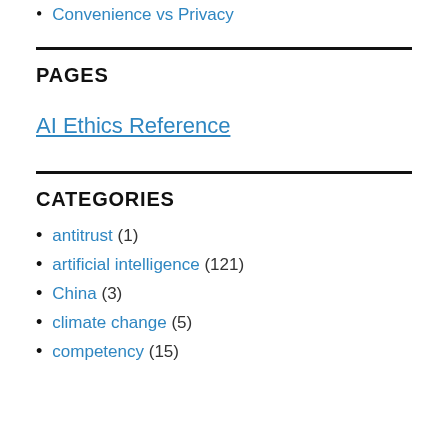Convenience vs Privacy
PAGES
AI Ethics Reference
CATEGORIES
antitrust (1)
artificial intelligence (121)
China (3)
climate change (5)
competency (15)